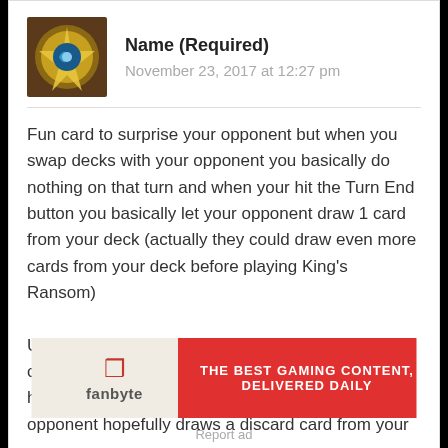[Figure (illustration): Hearthstone game avatar icon — golden sun/compass design with blue swirl center on dark brown background]
Name (Required)
November 23, 2017 at 12:27 pm
Fun card to surprise your opponent but when you swap decks with your opponent you basically do nothing on that turn and when your hit the Turn End button you basically let your opponent draw 1 card from your deck (actually they could draw even more cards from your deck before playing King's Ransom)
Unless you play Discard Warlock and after completing the quest you play King Togwaggle and hero power to draw a card from their deck and your opponent hopefully draws a discard card from your
[Figure (logo): Fanbyte advertisement banner — red and beige with fanbyte logo and text THE BEST GAMING CONTENT, DELIVERED DAILY]
Report ad